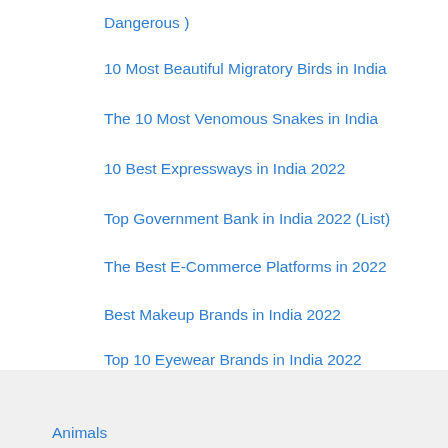Dangerous )
10 Most Beautiful Migratory Birds in India
The 10 Most Venomous Snakes in India
10 Best Expressways in India 2022
Top Government Bank in India 2022 (List)
The Best E-Commerce Platforms in 2022
Best Makeup Brands in India 2022
Top 10 Eyewear Brands in India 2022
Animals